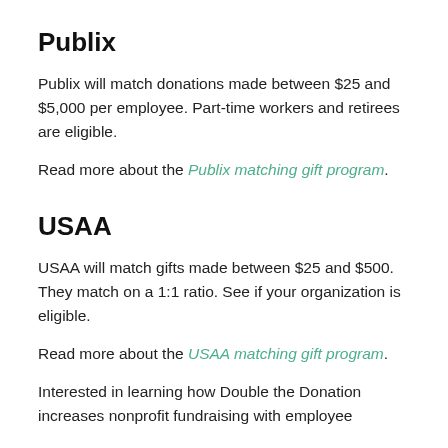Publix
Publix will match donations made between $25 and $5,000 per employee. Part-time workers and retirees are eligible.
Read more about the Publix matching gift program.
USAA
USAA will match gifts made between $25 and $500. They match on a 1:1 ratio. See if your organization is eligible.
Read more about the USAA matching gift program.
Interested in learning how Double the Donation increases nonprofit fundraising with employee matching gifts?